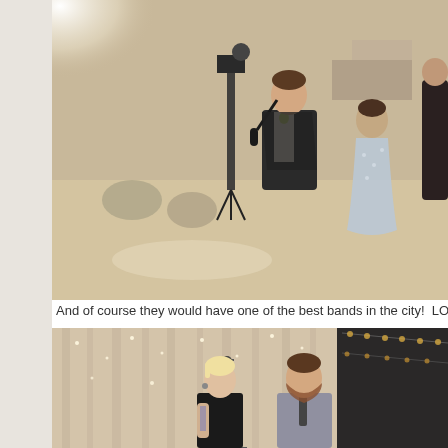[Figure (photo): A man in a dark suit with a boutonniere singing into a microphone and dancing at a wedding reception. A woman in a silver/blue lace gown dances beside him. A videographer with a camera on a tripod stands in the background. Wedding reception venue with guests seated at tables.]
And of course they would have one of the best bands in the city!  LO
[Figure (photo): Two singers performing on stage at a wedding: a blonde woman with tattoos singing into a microphone on a stand, and a bearded man in a grey shirt singing into a handheld microphone. White curtain backdrop with twinkling lights. String lights visible in the ceiling at right.]